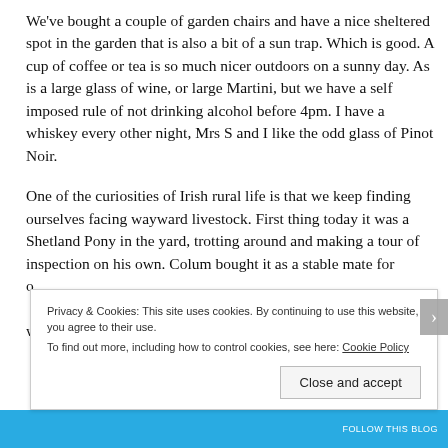We've bought a couple of garden chairs and have a nice sheltered spot in the garden that is also a bit of a sun trap. Which is good. A cup of coffee or tea is so much nicer outdoors on a sunny day. As is a large glass of wine, or large Martini, but we have a self imposed rule of not drinking alcohol before 4pm. I have a whiskey every other night, Mrs S and I like the odd glass of Pinot Noir.
One of the curiosities of Irish rural life is that we keep finding ourselves facing wayward livestock. First thing today it was a Shetland Pony in the yard, trotting around and making a tour of inspection on his own. Colum bought it as a stable mate for [text continues below cookie banner]
Privacy & Cookies: This site uses cookies. By continuing to use this website, you agree to their use. To find out more, including how to control cookies, see here: Cookie Policy